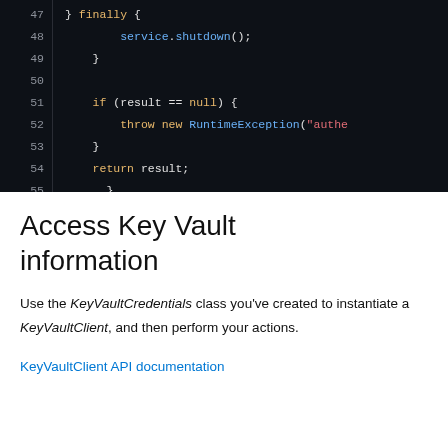[Figure (screenshot): Code block showing Java code lines 47-56 with syntax highlighting on dark background. Lines show: finally { service.shutdown(); }, if (result == null) { throw new RuntimeException("authe), }, return result;, }, }]
Access Key Vault information
Use the KeyVaultCredentials class you've created to instantiate a KeyVaultClient, and then perform your actions.
KeyVaultClient API documentation